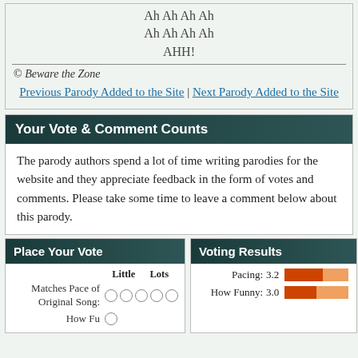Ah Ah Ah Ah
Ah Ah Ah Ah
AHH!
© Beware the Zone
Previous Parody Added to the Site | Next Parody Added to the Site
Your Vote & Comment Counts
The parody authors spend a lot of time writing parodies for the website and they appreciate feedback in the form of votes and comments. Please take some time to leave a comment below about this parody.
Place Your Vote
Voting Results
Little Lots
Matches Pace of Original Song:
How Funny:
Pacing: 3.2
How Funny: 3.0